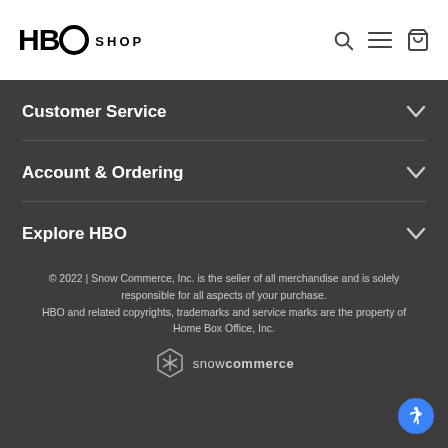HBO SHOP
Customer Service
Account & Ordering
Explore HBO
© 2022 | Snow Commerce, Inc. is the seller of all merchandise and is solely responsible for all aspects of your purchase. HBO and related copyrights, trademarks and service marks are the property of Home Box Office, Inc.
[Figure (logo): Snow Commerce logo with snowflake icon]